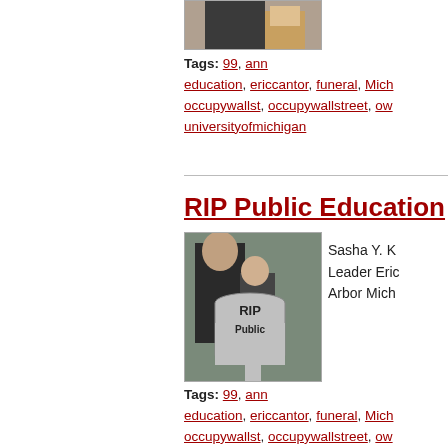[Figure (photo): Partial image at top of page, cropped, showing two people]
Tags: 99, ann, education, ericcantor, funeral, Mich, occupywallst, occupywallstreet, ow, universityofmichigan
RIP Public Education
[Figure (photo): Photo of protesters with a tombstone sign reading RIP Public Education]
Sasha Y. K  Leader Eric  Arbor Mich
Tags: 99, ann, education, ericcantor, funeral, Mich, occupywallst, occupywallstreet, ow, universityofmichigan